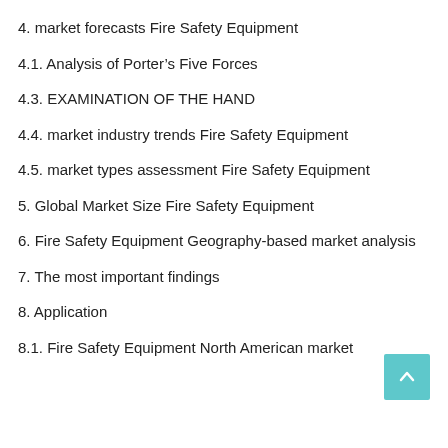4. market forecasts Fire Safety Equipment
4.1. Analysis of Porter’s Five Forces
4.3. EXAMINATION OF THE HAND
4.4. market industry trends Fire Safety Equipment
4.5. market types assessment Fire Safety Equipment
5. Global Market Size Fire Safety Equipment
6. Fire Safety Equipment Geography-based market analysis
7. The most important findings
8. Application
8.1. Fire Safety Equipment North American market